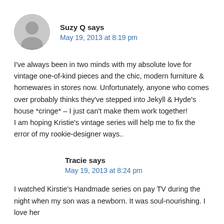Suzy Q says
May 19, 2013 at 8:19 pm
I've always been in two minds with my absolute love for vintage one-of-kind pieces and the chic, modern furniture & homewares in stores now. Unfortunately, anyone who comes over probably thinks they've stepped into Jekyll & Hyde's house *cringe* – I just can't make them work together!
I am hoping Kristie's vintage series will help me to fix the error of my rookie-designer ways..
Tracie says
May 19, 2013 at 8:24 pm
I watched Kirstie's Handmade series on pay TV during the night when my son was a newborn. It was soul-nourishing. I love her